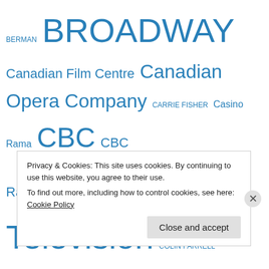BERMAN BROADWAY Canadian Film Centre Canadian Opera Company CARRIE FISHER Casino Rama CBC CBC Radio CBC Television COLIN FARRELL COLIN MOCHRIE COLM FEORE CTV DEB McGRATH DOLLY PARTON Emmy Awards Facebook Factory Theatre Fallsview Casino Four Seasons Centre For the Performing Arts GEORGE CLOONEY GEORGE STROUMBOULOPOULOS Glee GLENN GOULD GORDON PINSENT GUILLAUME COTE HBO Hot Docs HUGH HEFNER JANE FONDA JAYNE
Privacy & Cookies: This site uses cookies. By continuing to use this website, you agree to their use. To find out more, including how to control cookies, see here: Cookie Policy
Close and accept